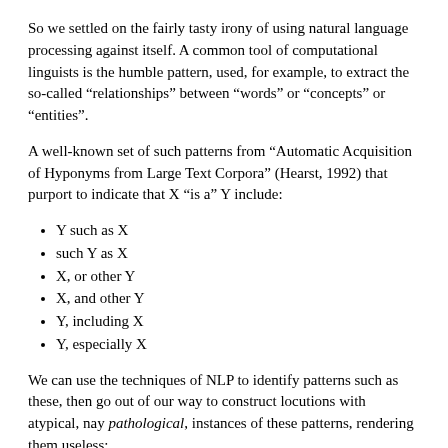So we settled on the fairly tasty irony of using natural language processing against itself. A common tool of computational linguists is the humble pattern, used, for example, to extract the so-called “relationships” between “words” or “concepts” or “entities”.
A well-known set of such patterns from “Automatic Acquisition of Hyponyms from Large Text Corpora” (Hearst, 1992) that purport to indicate that X “is a” Y include:
Y such as X
such Y as X
X, or other Y
X, and other Y
Y, including X
Y, especially X
We can use the techniques of NLP to identify patterns such as these, then go out of our way to construct locutions with atypical, nay pathological, instances of these patterns, rendering them useless:
Patterns such as Hearst discusses have become useless.
Falons such as Noam Chomsky talks about are often